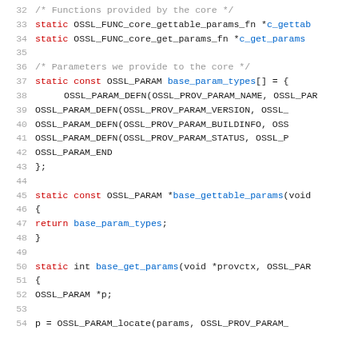[Figure (screenshot): Source code listing in C showing lines 32-54, with syntax highlighting. Keywords in red, function names/identifiers in blue, comments in gray, and other code in dark/black monospace font.]